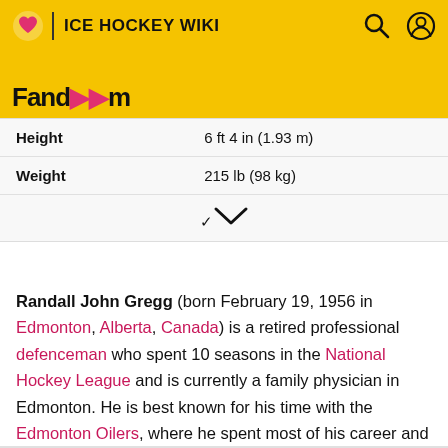ICE HOCKEY WIKI | Fandom
| Height | 6 ft 4 in (1.93 m) |
| Weight | 215 lb (98 kg) |
Randall John Gregg (born February 19, 1956 in Edmonton, Alberta, Canada) is a retired professional defenceman who spent 10 seasons in the National Hockey League and is currently a family physician in Edmonton. He is best known for his time with the Edmonton Oilers, where he spent most of his career and won five Stanley Cups 1984, 1985, 1987, 1988, 1990.